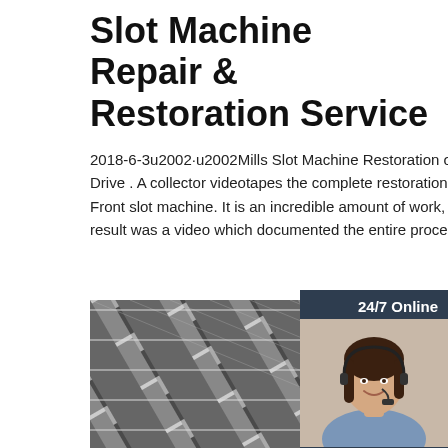Slot Machine Repair & Restoration Service
2018-6-3u2002·u2002Mills Slot Machine Restoration on a Thumb Drive . A collector videotapes the complete restoration of a Castle Front slot machine. It is an incredible amount of work, but the end result was a video which documented the entire process
[Figure (other): Customer service representative woman with headset, smiling, with '24/7 Online' header and 'Click here for free chat!' and 'QUOTATION' button sidebar widget]
Get Price
[Figure (photo): Close-up photo of metal angle iron or structural steel sections stacked together, with a 'TOP' badge in the bottom right corner]